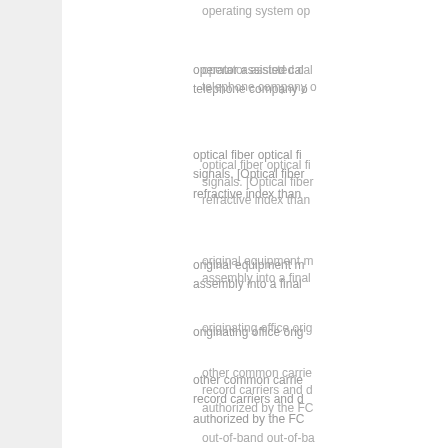operator assisted call telephone company o
optical fiber optical fi signals. [Optical fiber refractive index than
original equipment m assembly into a final
originating office orig
other common carrie record carriers and d authorized by the FC
out-of-band out-of-ba spectrum used for vo
out-of-band signaling up and ANI informatio